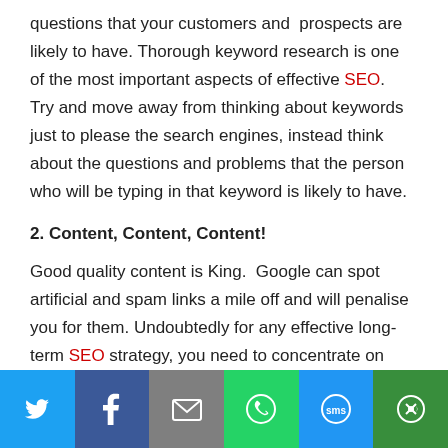questions that your customers and prospects are likely to have. Thorough keyword research is one of the most important aspects of effective SEO. Try and move away from thinking about keywords just to please the search engines, instead think about the questions and problems that the person who will be typing in that keyword is likely to have.
2. Content, Content, Content!
Good quality content is King. Google can spot artificial and spam links a mile off and will penalise you for them. Undoubtedly for any effective long-term SEO strategy, you need to concentrate on giving your readers great quality content that adds value to them. This applies not just t–